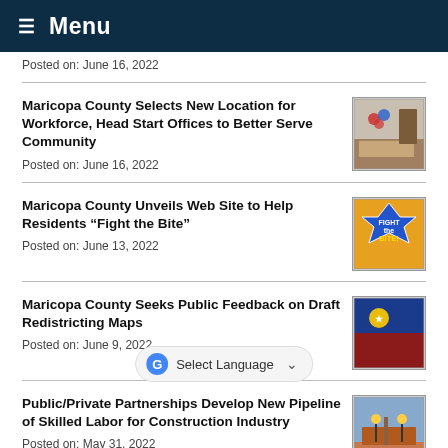Menu
Posted on: June 16, 2022
Maricopa County Selects New Location for Workforce, Head Start Offices to Better Serve Community
Posted on: June 16, 2022
[Figure (photo): Interior room photo with balloons]
Maricopa County Unveils Web Site to Help Residents “Fight the Bite”
Posted on: June 13, 2022
[Figure (photo): Fight the Bite logo on yellow background]
Maricopa County Seeks Public Feedback on Draft Redistricting Maps
Posted on: June 9, 2022
[Figure (photo): Maricopa County flag or banner]
Public/Private Partnerships Develop New Pipeline of Skilled Labor for Construction Industry
Posted on: May 31, 2022
[Figure (photo): Construction workers on a roof]